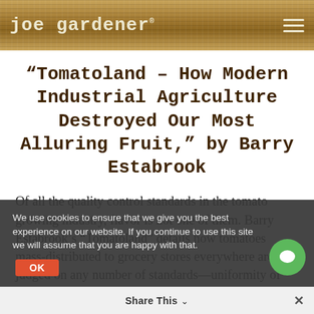joe gardener®
“Tomatoland - How Modern Industrial Agriculture Destroyed Our Most Alluring Fruit,” by Barry Estabrook
Of all the quality control standards in the tomato growing industry, flavor is not one of them. Barry Estabrook’s “Tomatoland” details how tomatoes mass-distributed to grocery stores everywhere are judged on any number of standards—uniformity of size, color, durability, shelf life—but never flavor. This is just one of many fascinating topics covered in “Tomatoland.” It’s a James Beard award-winning book…
We use cookies to ensure that we give you the best experience on our website. If you continue to use this site we will assume that you are happy with that.